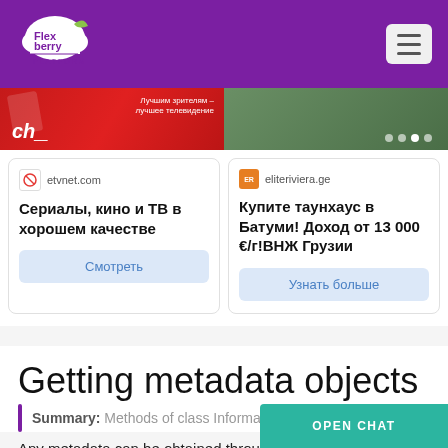[Figure (logo): Flexberry Platform logo - white cloud shape with Flex berry text on purple background]
[Figure (screenshot): Two advertisement cards on a white background above a promotional strip with images]
Getting metadata objects
Summary: Methods of class Information
Any metadata can be obtained through